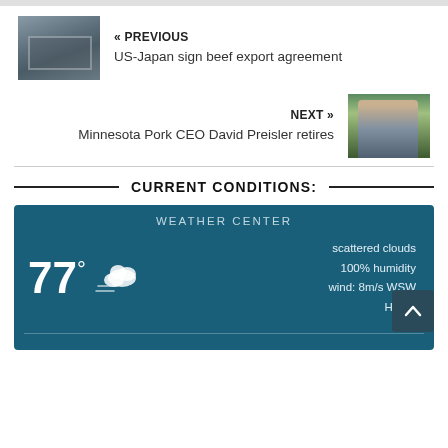« PREVIOUS
US-Japan sign beef export agreement
NEXT »
Minnesota Pork CEO David Preisler retires
CURRENT CONDITIONS:
[Figure (infographic): Weather Center widget showing 77° temperature, scattered clouds icon, 100% humidity, wind: 8m/s WSW, H 80]
WEATHER CENTER
77°
scattered clouds
100% humidity
wind: 8m/s WSW
H 80